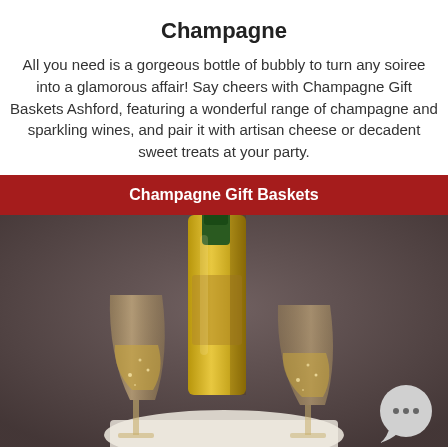Champagne
All you need is a gorgeous bottle of bubbly to turn any soiree into a glamorous affair! Say cheers with Champagne Gift Baskets Ashford, featuring a wonderful range of champagne and sparkling wines, and pair it with artisan cheese or decadent sweet treats at your party.
Champagne Gift Baskets
[Figure (photo): Photo of champagne bottle and two champagne flutes being toasted together on a dark background, with champagne bubbles visible inside the glasses.]